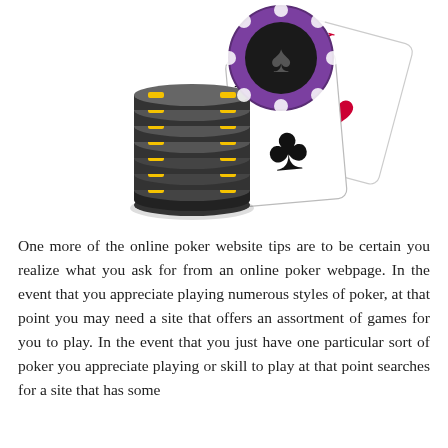[Figure (illustration): Illustration of poker chips stacked (yellow and black) and a purple poker chip with spade symbol, plus two playing cards: Ace of clubs and King of hearts, arranged decoratively.]
One more of the online poker website tips are to be certain you realize what you ask for from an online poker webpage. In the event that you appreciate playing numerous styles of poker, at that point you may need a site that offers an assortment of games for you to play. In the event that you just have one particular sort of poker you appreciate playing or skill to play at that point searches for a site that has some